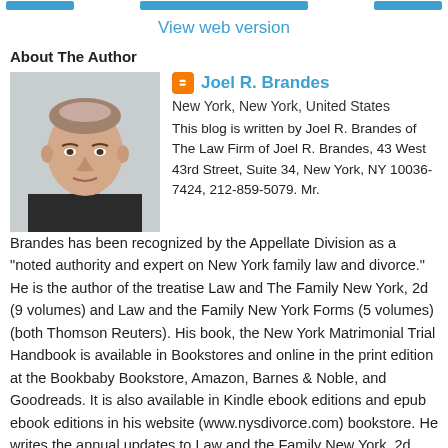View web version
About The Author
[Figure (photo): Headshot photo of Joel R. Brandes, an older man with thinning hair wearing a dark shirt]
Joel R. Brandes
New York, New York, United States
This blog is written by Joel R. Brandes of The Law Firm of Joel R. Brandes, 43 West 43rd Street, Suite 34, New York, NY 10036-7424, 212-859-5079. Mr. Brandes has been recognized by the Appellate Division as a "noted authority and expert on New York family law and divorce." He is the author of the treatise Law and The Family New York, 2d (9 volumes) and Law and the Family New York Forms (5 volumes) (both Thomson Reuters). His book, the New York Matrimonial Trial Handbook is available in Bookstores and online in the print edition at the Bookbaby Bookstore, Amazon, Barnes & Noble, and Goodreads. It is also available in Kindle ebook editions and epub ebook editions in his website (www.nysdivorce.com) bookstore. He writes the annual updates to Law and the Family New York, 2d, and Law and the Family New York Forms, 2d with his daughter Bari Brandes Corbin, Esq., and his son Evan Barett Brandes, Esq. The Law Firm